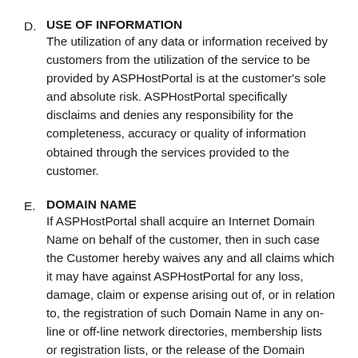D. USE OF INFORMATION
The utilization of any data or information received by customers from the utilization of the service to be provided by ASPHostPortal is at the customer's sole and absolute risk. ASPHostPortal specifically disclaims and denies any responsibility for the completeness, accuracy or quality of information obtained through the services provided to the customer.
E. DOMAIN NAME
If ASPHostPortal shall acquire an Internet Domain Name on behalf of the customer, then in such case the Customer hereby waives any and all claims which it may have against ASPHostPortal for any loss, damage, claim or expense arising out of, or in relation to, the registration of such Domain Name in any on-line or off-line network directories, membership lists or registration lists, or the release of the Domain Name